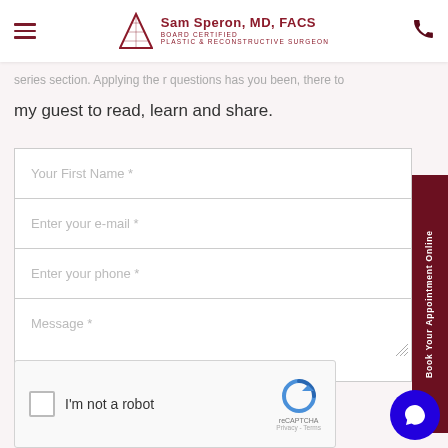Sam Speron, MD, FACS — BOARD CERTIFIED PLASTIC & RECONSTRUCTIVE SURGEON
my guest to read, learn and share.
[Figure (screenshot): Contact form with fields: Your First Name *, Enter your e-mail *, Enter your phone *, Message *]
[Figure (other): Book Your Appointment Online sidebar button (dark red, vertical text)]
[Figure (other): reCAPTCHA widget with checkbox 'I'm not a robot', reCAPTCHA logo, Privacy - Terms links]
[Figure (other): Blue circular chat bubble icon, bottom right corner]